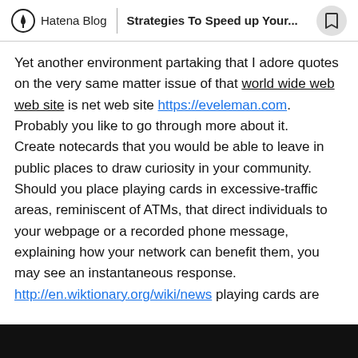Hatena Blog | Strategies To Speed up Your...
Yet another environment partaking that I adore quotes on the very same matter issue of that world wide web web site is net web site https://eveleman.com. Probably you like to go through more about it.
Create notecards that you would be able to leave in public places to draw curiosity in your community. Should you place playing cards in excessive-traffic areas, reminiscent of ATMs, that direct individuals to your webpage or a recorded phone message, explaining how your network can benefit them, you may see an instantaneous response.
http://en.wiktionary.org/wiki/news playing cards are